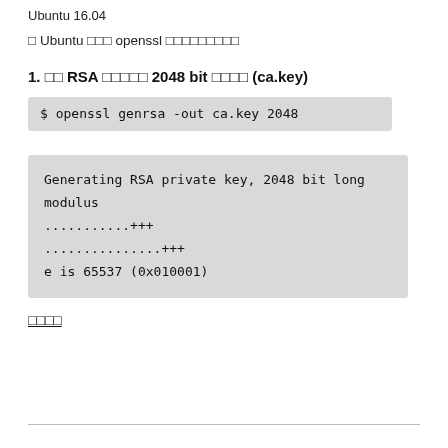Ubuntu 16.04
□ Ubuntu □□□ openssl □□□□□□□□□
1. □□ RSA □□□□□ 2048 bit □□□□ (ca.key)
$ openssl genrsa -out ca.key 2048
Generating RSA private key, 2048 bit long
modulus
...........+++
...............+++
e is 65537 (0x010001)
□□□□